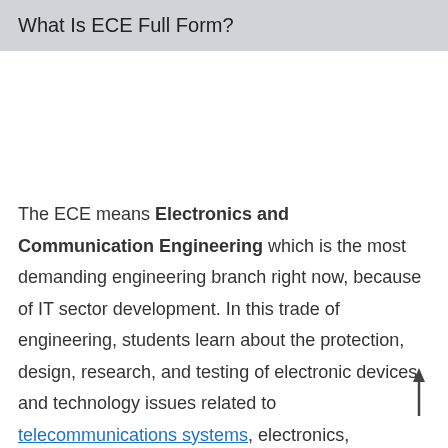What Is ECE Full Form?
The ECE means Electronics and Communication Engineering which is the most demanding engineering branch right now, because of IT sector development. In this trade of engineering, students learn about the protection, design, research, and testing of electronic devices and technology issues related to telecommunications systems, electronics, computers, and